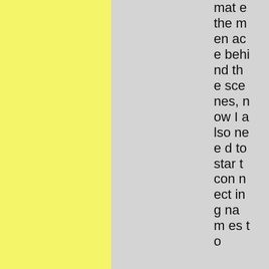mate the menace behind the scenes, now I also need to start connecting names to